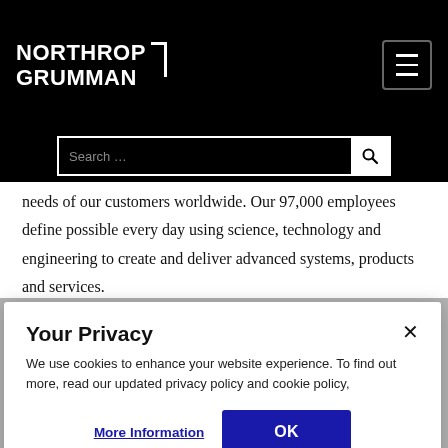NORTHROP GRUMMAN
needs of our customers worldwide. Our 97,000 employees define possible every day using science, technology and engineering to create and deliver advanced systems, products and services.
Note: Statements in this press release, and statements to be made on the conference call, including in any accompanying materials
Your Privacy
We use cookies to enhance your website experience. To find out more, read our updated privacy policy and cookie policy,
More Information
OK